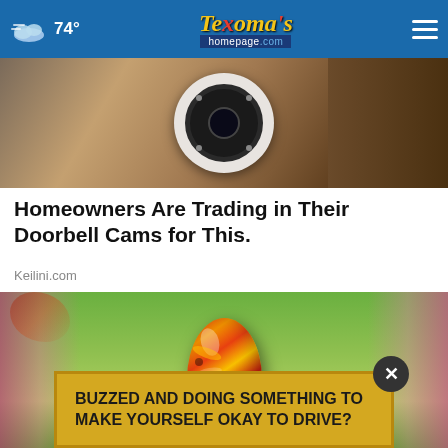74° Texoma's homepage.com
[Figure (photo): Hand holding a white dome security/doorbell camera with multiple LED sensors visible]
Homeowners Are Trading in Their Doorbell Cams for This.
Keilini.com
[Figure (photo): Colorful glass art egg with red, yellow and orange swirl patterns, surrounded by pink spring blossoms and green foliage]
BUZZED AND DOING SOMETHING TO MAKE YOURSELF OKAY TO DRIVE?